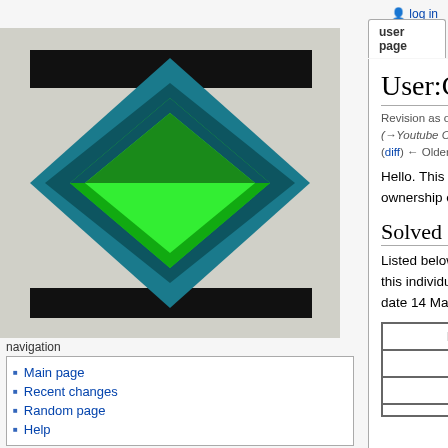log in
[Figure (illustration): Superliminal Wiki logo: geometric diamond shapes in green, dark teal, and black on a light background]
navigation
Main page
Recent changes
Random page
Help
search
tools
What links here
Related changes
User contributions
Logs
Special pages
User:Cd
Revision as of 19:10, 18 March 2021 by Cd (Talk | contribs) (→Youtube Channel)
(diff) ← Older revision | Latest revision (diff) | Newer revision → (diff)
Hello. This is the official Superliminal Wiki page under the ownership of the 408th solver of Magic Cube 4D.
Solved Puzzles
Listed below are the multi-dimensional puzzles solved by this individual in order of achievement, beginning from the date 14 March 2020.
| Puzzle | Date |
| --- | --- |
| [3^4] | 3-14-2020 |
| [3^5] | 4-25-2020 |